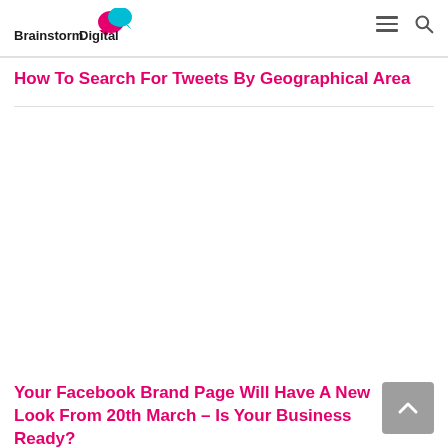BrainstormDigital
How To Search For Tweets By Geographical Area
Your Facebook Brand Page Will Have A New Look From 20th March – Is Your Business Ready?